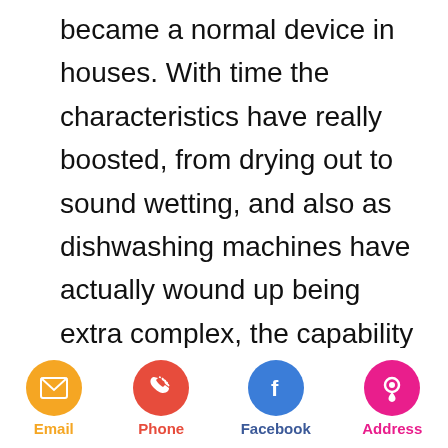became a normal device in houses. With time the characteristics have really boosted, from drying out to sound wetting, and also as dishwashing machines have actually wound up being extra complex, the capability entailed with fixing their growing variety of elements has actually increased. For the best in whirlpool meal washer repair work service, you need to connect with the extremely best, yet understanding a thing or 2 about components could make fixing
Email  Phone  Facebook  Address